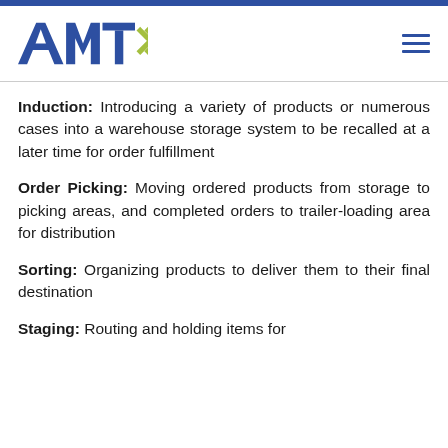AMT logo bar with navigation
Induction: Introducing a variety of products or numerous cases into a warehouse storage system to be recalled at a later time for order fulfillment
Order Picking: Moving ordered products from storage to picking areas, and completed orders to trailer-loading area for distribution
Sorting: Organizing products to deliver them to their final destination
Staging: Routing and holding items for further processing or loading